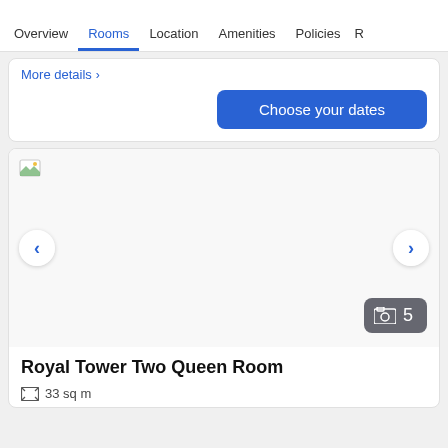Overview  Rooms  Location  Amenities  Policies  R
More details >
Choose your dates
[Figure (screenshot): Room image placeholder with broken image icon at top left, left and right navigation arrows, and a photo count badge showing a photo icon and the number 5]
Royal Tower Two Queen Room
33 sq m